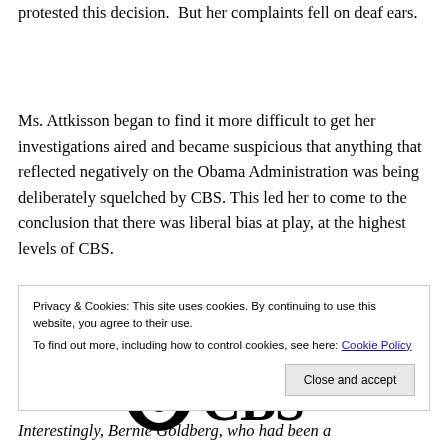protested this decision.  But her complaints fell on deaf ears.
Ms. Attkisson began to find it more difficult to get her investigations aired and became suspicious that anything that reflected negatively on the Obama Administration was being deliberately squelched by CBS. This led her to come to the conclusion that there was liberal bias at play, at the highest levels of CBS.
[Figure (logo): CBS eye logo with the letters CBS in large bold serif font]
Privacy & Cookies: This site uses cookies. By continuing to use this website, you agree to their use. To find out more, including how to control cookies, see here: Cookie Policy
Interestingly, Bernie Goldberg, who had been a